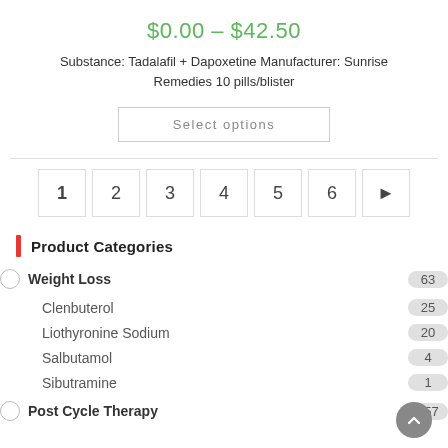$0.00 – $42.50
Substance: Tadalafil + Dapoxetine Manufacturer: Sunrise Remedies 10 pills/blister
Select options
1
2
3
4
5
6
▶
Product Categories
Weight Loss  63
Clenbuterol  25
Liothyronine Sodium  20
Salbutamol  4
Sibutramine  1
Post Cycle Therapy  157